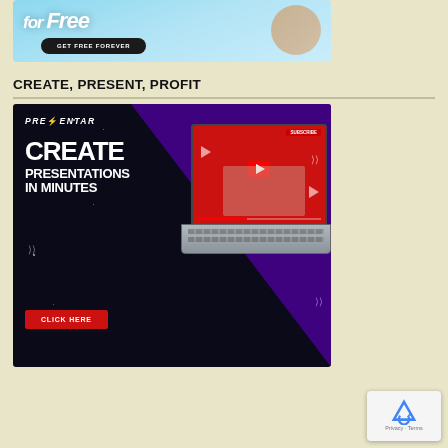[Figure (illustration): Top advertisement banner with light blue background showing 'GET FREE FOREVER' button in black pill-shaped button]
CREATE, PRESENT, PROFIT
[Figure (illustration): Prezentar advertisement with dark/space background. Shows PREZENTAR logo, text 'CREATE PRESENTATIONS IN MINUTES' with a CLICK HERE red button, and a laptop showing a video presentation on screen with YouTube-style interface.]
[Figure (illustration): reCAPTCHA privacy badge in bottom right corner showing reCAPTCHA logo with Privacy and Terms text]